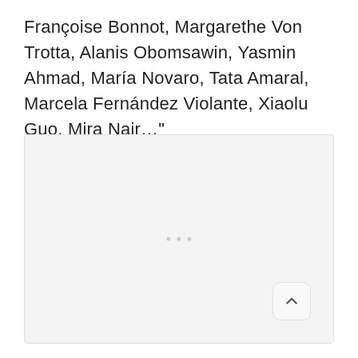Françoise Bonnot, Margarethe Von Trotta, Alanis Obomsawin, Yasmin Ahmad, María Novaro, Tata Amaral, Marcela Fernández Violante, Xiaolu Guo, Mira Nair…"
[Figure (other): A light gray placeholder image box with three small gray dots centered near the middle, and a back-to-top arrow button in the bottom-right corner.]